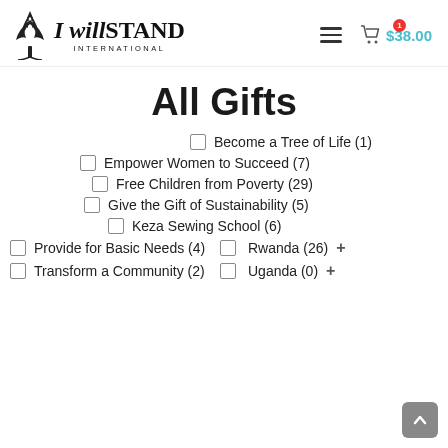I willSTAND INTERNATIONAL — hamburger menu — cart $38.00
All Gifts
Become a Tree of Life (1)
Empower Women to Succeed (7)
Free Children from Poverty (29)
Give the Gift of Sustainability (5)
Keza Sewing School (6)
Provide for Basic Needs (4)
Rwanda (26)
Transform a Community (2)
Uganda (0)